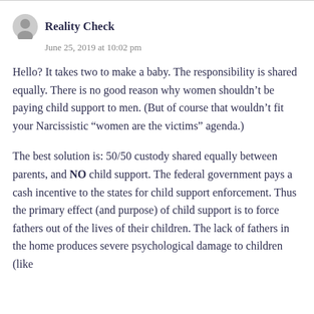Reality Check
June 25, 2019 at 10:02 pm
Hello? It takes two to make a baby. The responsibility is shared equally. There is no good reason why women shouldn’t be paying child support to men. (But of course that wouldn’t fit your Narcissistic “women are the victims” agenda.)
The best solution is: 50/50 custody shared equally between parents, and NO child support. The federal government pays a cash incentive to the states for child support enforcement. Thus the primary effect (and purpose) of child support is to force fathers out of the lives of their children. The lack of fathers in the home produces severe psychological damage to children (like